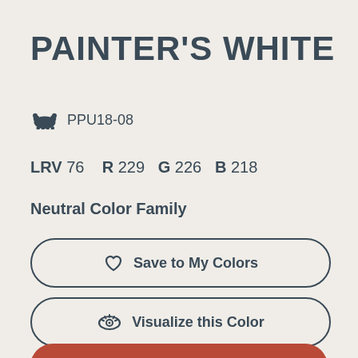PAINTER'S WHITE
PPU18-08
LRV 76   R 229   G 226   B 218
Neutral Color Family
Save to My Colors
Visualize this Color